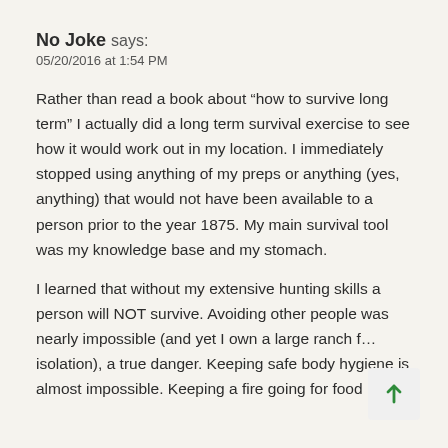No Joke says:
05/20/2016 at 1:54 PM
Rather than read a book about “how to survive long term” I actually did a long term survival exercise to see how it would work out in my location. I immediately stopped using anything of my preps or anything (yes, anything) that would not have been available to a person prior to the year 1875. My main survival tool was my knowledge base and my stomach.
I learned that without my extensive hunting skills a person will NOT survive. Avoiding other people was nearly impossible (and yet I own a large ranch f… isolation), a true danger. Keeping safe body hygiene is almost impossible. Keeping a fire going for food…